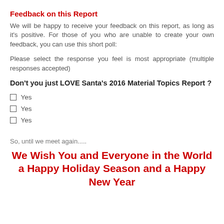Feedback on this Report
We will be happy to receive your feedback on this report, as long as it's positive. For those of you who are unable to create your own feedback, you can use this short poll:
Please select the response you feel is most appropriate (multiple responses accepted)
Don't you just LOVE Santa's 2016 Material Topics Report ?
Yes
Yes
Yes
So, until we meet again.....
We Wish You and Everyone in the World a Happy Holiday Season and a Happy New Year